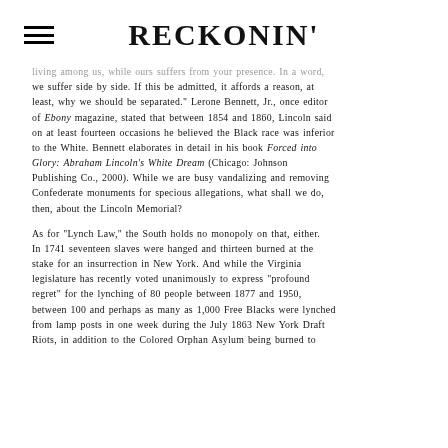RECKONIN'
living among us, while ours suffers from your presence. In a word, we suffer side by side. If this be admitted, it affords a reason, at least, why we should be separated." Lerone Bennett, Jr., once editor of Ebony magazine, stated that between 1854 and 1860, Lincoln said on at least fourteen occasions he believed the Black race was inferior to the White. Bennett elaborates in detail in his book Forced into Glory: Abraham Lincoln's White Dream (Chicago: Johnson Publishing Co., 2000). While we are busy vandalizing and removing Confederate monuments for specious allegations, what shall we do, then, about the Lincoln Memorial?
As for “Lynch Law,” the South holds no monopoly on that, either. In 1741 seventeen slaves were hanged and thirteen burned at the stake for an insurrection in New York. And while the Virginia legislature has recently voted unanimously to express “profound regret” for the lynching of 80 people between 1877 and 1950, between 100 and perhaps as many as 1,000 Free Blacks were lynched from lamp posts in one week during the July 1863 New York Draft Riots, in addition to the Colored Orphan Asylum being burned to